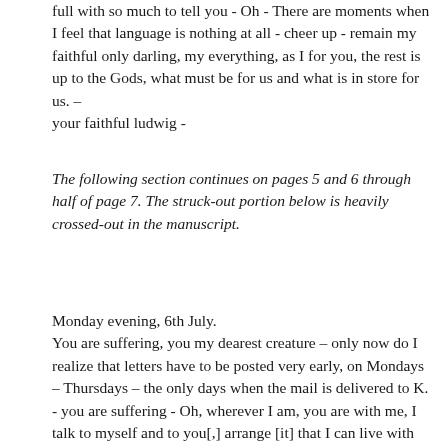full with so much to tell you - Oh - There are moments when I feel that language is nothing at all - cheer up - remain my faithful only darling, my everything, as I for you, the rest is up to the Gods, what must be for us and what is in store for us. – your faithful ludwig -
The following section continues on pages 5 and 6 through half of page 7. The struck-out portion below is heavily crossed-out in the manuscript.
Monday evening, 6th July. You are suffering, you my dearest creature – only now do I realize that letters have to be posted very early, on Mondays – Thursdays – the only days when the mail is delivered to K. - you are suffering - Oh, wherever I am, you are with me, I talk to myself and to you[,] arrange [it] that I can live with you, what a life!!!! as it